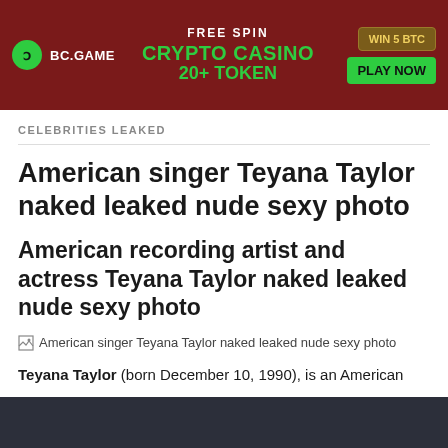[Figure (screenshot): BC.GAME crypto casino advertisement banner with FREE SPIN, CRYPTO CASINO 20+ TOKEN text in green on dark red background, WIN 5 BTC and PLAY NOW buttons on right]
CELEBRITIES LEAKED
American singer Teyana Taylor naked leaked nude sexy photo
American recording artist and actress Teyana Taylor naked leaked nude sexy photo
American singer Teyana Taylor naked leaked nude sexy photo
Teyana Taylor (born December 10, 1990), is an American